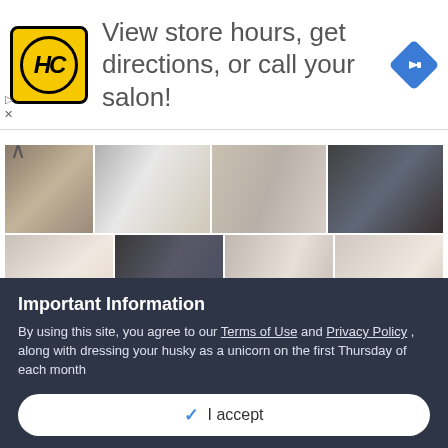[Figure (screenshot): Advertisement banner: HC logo, text 'View store hours, get directions, or call your salon!' with blue diamond arrow icon]
[Figure (photo): Grid of husky dog photos — 10 thumbnail images arranged in 3 rows showing various husky puppies and dogs]
Important Information
By using this site, you agree to our Terms of Use and Privacy Policy , along with dressing your husky as a unicorn on the first Thursday of each month
✓  I accept